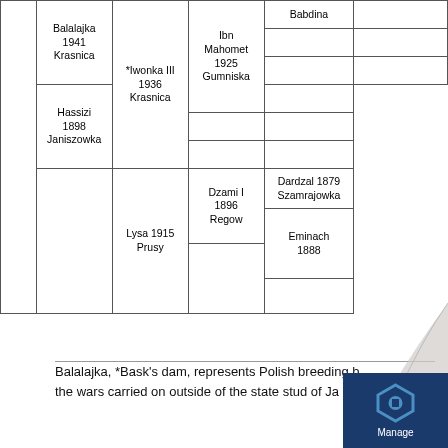| Col1 | Col2 | Col3 | Col4 | Col5 | Col6 |
| --- | --- | --- | --- | --- | --- |
|  | Balalajka
1941
Krasnica |  | Babdina |  |  |
|  |  |  | Ibn Mahomet
1925
Gumniska |  |  |
|  |  | *Iwonka III
1936
Krasnica |  | Hassizi
1898
Janiszowka |  |
|  |  |  | Lysa 1915
Prusy | Dzami I
1896
Regow | Dardzal 1879
Szamrajowka |
|  |  |  |  |  | Eminach
1888 |
Balalajka, *Bask's dam, represents Polish breeding between the wars carried on outside of the state stud of Ja...